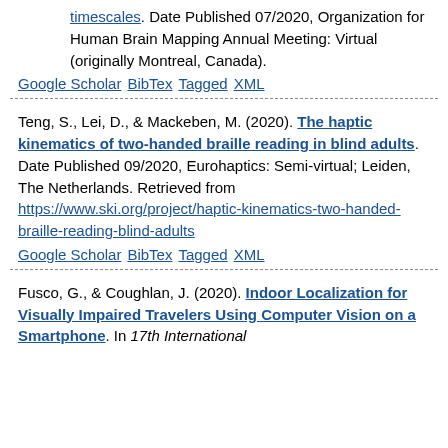timescales. Date Published 07/2020, Organization for Human Brain Mapping Annual Meeting: Virtual (originally Montreal, Canada).
Google Scholar BibTex Tagged XML
Teng, S., Lei, D., & Mackeben, M. (2020). The haptic kinematics of two-handed braille reading in blind adults. Date Published 09/2020, Eurohaptics: Semi-virtual; Leiden, The Netherlands. Retrieved from https://www.ski.org/project/haptic-kinematics-two-handed-braille-reading-blind-adults
Google Scholar BibTex Tagged XML
Fusco, G., & Coughlan, J. (2020). Indoor Localization for Visually Impaired Travelers Using Computer Vision on a Smartphone. In 17th International